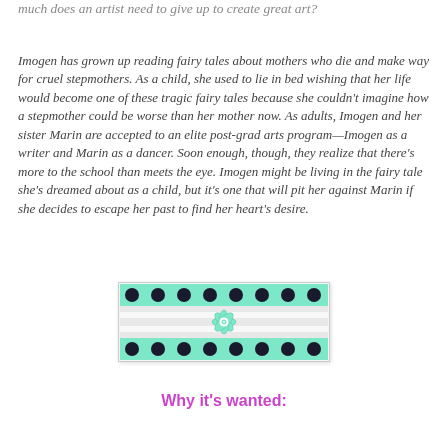much does an artist need to give up to create great art?
Imogen has grown up reading fairy tales about mothers who die and make way for cruel stepmothers. As a child, she used to lie in bed wishing that her life would become one of these tragic fairy tales because she couldn't imagine how a stepmother could be worse than her mother now. As adults, Imogen and her sister Marin are accepted to an elite post-grad arts program—Imogen as a writer and Marin as a dancer. Soon enough, though, they realize that there's more to the school than meets the eye. Imogen might be living in the fairy tale she's dreamed about as a child, but it's one that will pit her against Marin if she decides to escape her past to find her heart's desire.
[Figure (illustration): A decorative banner image showing teal/mint and black polka dot ribbon with a floral embellishment in the center, on a light background.]
Why it's wanted: